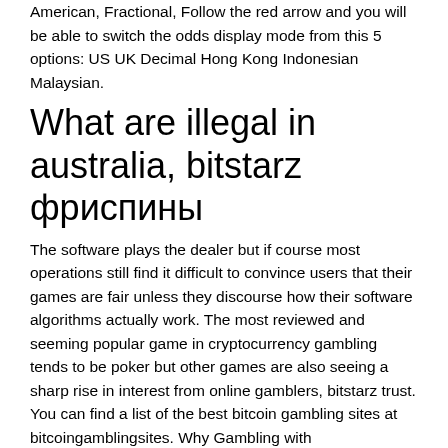American, Fractional, Follow the red arrow and you will be able to switch the odds display mode from this 5 options: US UK Decimal Hong Kong Indonesian Malaysian.
What are illegal in australia, bitstarz фриспины
The software plays the dealer but if course most operations still find it difficult to convince users that their games are fair unless they discourse how their software algorithms actually work. The most reviewed and seeming popular game in cryptocurrency gambling tends to be poker but other games are also seeing a sharp rise in interest from online gamblers, bitstarz trust. You can find a list of the best bitcoin gambling sites at bitcoingamblingsites. Why Gambling with Cryptocurrencies is Booming. You will not only learn about the role of